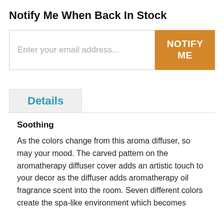Notify Me When Back In Stock
Enter your email address...
NOTIFY ME
Details
Soothing
As the colors change from this aroma diffuser, so may your mood. The carved pattern on the aromatherapy diffuser cover adds an artistic touch to your decor as the diffuser adds aromatherapy oil fragrance scent into the room. Seven different colors create the spa-like environment which becomes